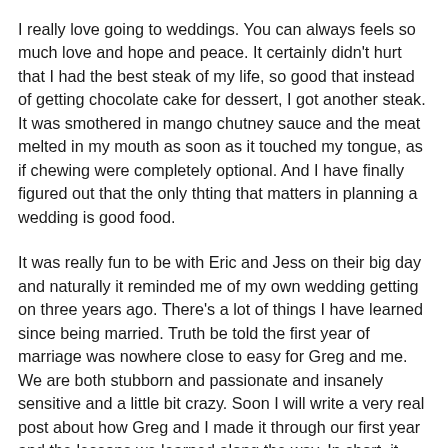I really love going to weddings.  You can always feels so much love and hope and peace.  It certainly didn't hurt that I had the best steak of my life, so good that instead of getting chocolate cake for dessert, I got another steak.  It was smothered in mango chutney sauce and the meat melted in my mouth as soon as it touched my tongue, as if chewing were completely optional.  And I have finally figured out that the only thting that matters in planning a wedding is good food.
It was really fun to be with Eric and Jess on their big day and naturally it reminded me of my own wedding getting on three years ago.  There's a lot of things I have learned since being married.  Truth be told the first year of marriage was nowhere close to easy for Greg and me.  We are both stubborn and passionate and insanely sensitive and a little bit crazy.  Soon I will write a very real post about how Greg and I made it through our first year and the lessons we learned along the way.  In short, it was a lot of fun, but also a lot of work.  (And even to write about it sounds like more work than I am willing to tackle right now.  So I will save it for